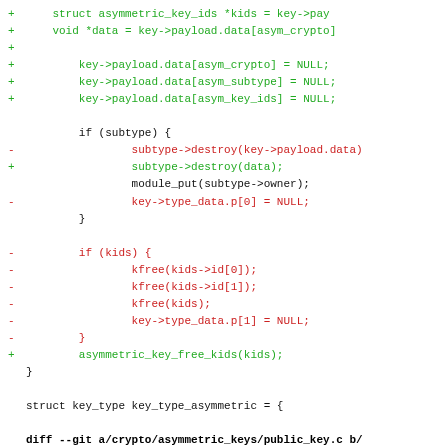Code diff showing changes to asymmetric key handling in Linux kernel crypto code